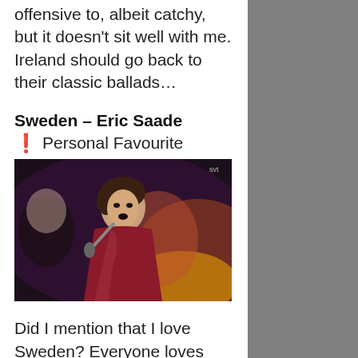offensive to, albeit catchy, but it doesn't sit well with me. Ireland should go back to their classic ballads…
Sweden – Eric Saade
❗  Personal Favourite
[Figure (photo): Photo of Eric Saade performing on stage wearing a red/burgundy shiny jacket, holding a microphone, with colorful stage lighting in the background. SVT watermark visible in top right corner.]
Did I mention that I love Sweden? Everyone loves Sweden because they think that Swedish people will have sex with you. The reality is that